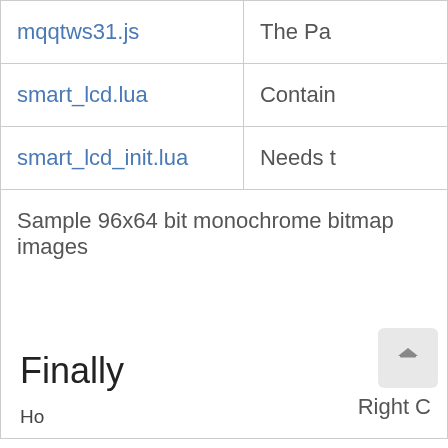| File | Description |
| --- | --- |
| mqqtws31.js | The Pa… |
| smart_lcd.lua | Contain… |
| smart_lcd_init.lua | Needs t… |
| Sample 96x64 bit monochrome bitmap images | Right C… |
Finally
Ho…